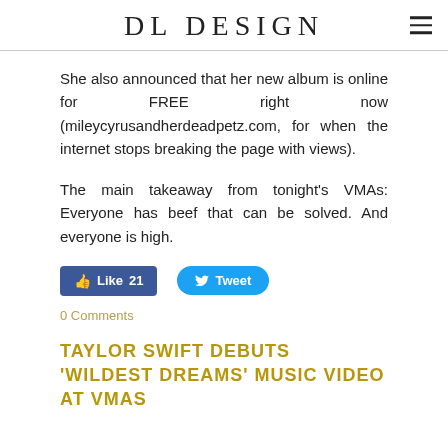DL DESIGN
She also announced that her new album is online for FREE right now (mileycyrusandherdeadpetz.com, for when the internet stops breaking the page with views).
The main takeaway from tonight's VMAs: Everyone has beef that can be solved. And everyone is high.
[Figure (other): Social media buttons: Facebook Like button showing count 21, and a Twitter Tweet button]
0 Comments
TAYLOR SWIFT DEBUTS 'WILDEST DREAMS' MUSIC VIDEO AT VMAS